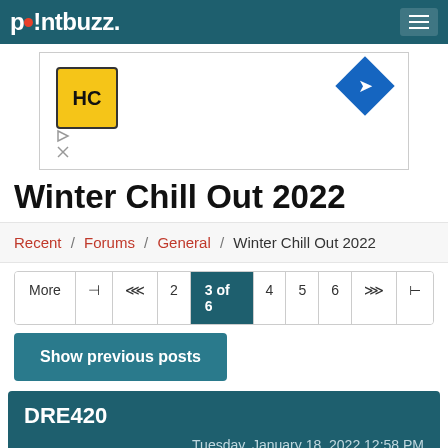pointbuzz
[Figure (other): Advertisement banner with HC logo badge on left and blue diamond with arrow icon on right, with play and close icons below left]
Winter Chill Out 2022
Recent / Forums / General / Winter Chill Out 2022
More | |◄ | ◄◄ | 2 | 3 of 6 | 4 | 5 | 6 | ►► | ►|
Show previous posts
DRE420
Tuesday, January 18, 2022 12:58 PM